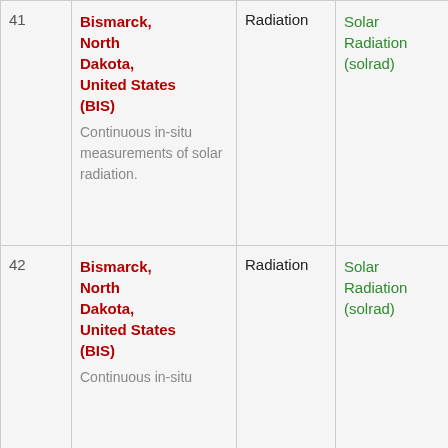| # | Station/Description | Type | Variable | Measurement |
| --- | --- | --- | --- | --- |
| 41 | Bismarck, North Dakota, United States (BIS)
Continuous in-situ measurements of solar radiation. | Radiation | Solar Radiation (solrad) | Insitu |
| 42 | Bismarck, North Dakota, United States (BIS)
Continuous in-situ | Radiation | Solar Radiation (solrad) | Insitu |